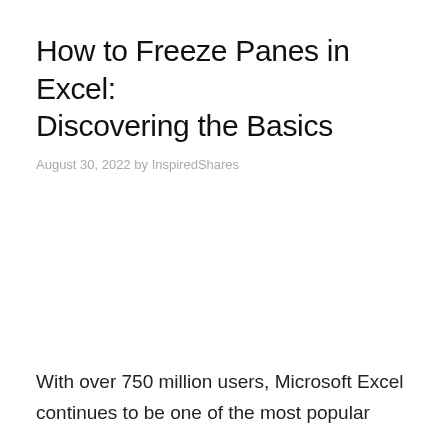How to Freeze Panes in Excel: Discovering the Basics
August 30, 2022 by InspiredShares
With over 750 million users, Microsoft Excel continues to be one of the most popular